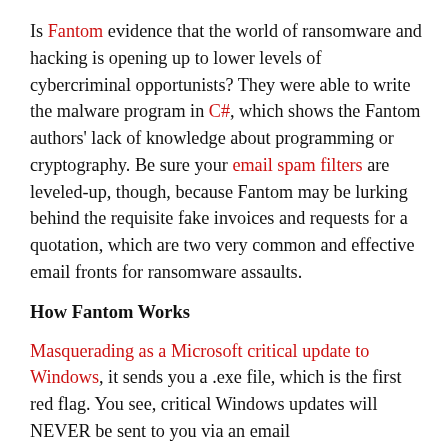Is Fantom evidence that the world of ransomware and hacking is opening up to lower levels of cybercriminal opportunists? They were able to write the malware program in C#, which shows the Fantom authors' lack of knowledge about programming or cryptography. Be sure your email spam filters are leveled-up, though, because Fantom may be lurking behind the requisite fake invoices and requests for a quotation, which are two very common and effective email fronts for ransomware assaults.
How Fantom Works
Masquerading as a Microsoft critical update to Windows, it sends you a .exe file, which is the first red flag. You see, critical Windows updates will NEVER be sent to you via an email